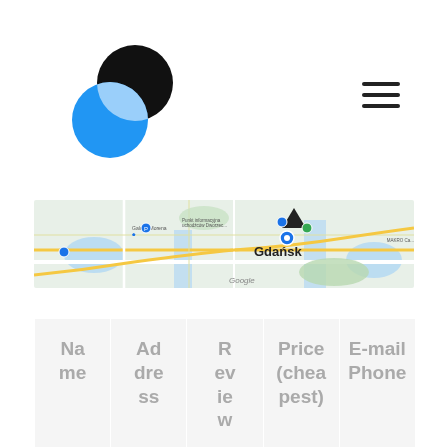[Figure (logo): Two overlapping circles logo: one black circle on top-right, one blue circle on bottom-left, overlapping to create a Venn-diagram style logo]
[Figure (map): Google Maps screenshot showing Gdańsk, Poland area with streets, rivers, and a location marker pin near the city center. Map labels include 'Gdańsk', 'Galeria Morena', 'Punkt informacyjna uchodźców Dworzec...' and Google branding at bottom.]
| Name | Address | Review | Price (cheapest) | E-mail Phone |
| --- | --- | --- | --- | --- |